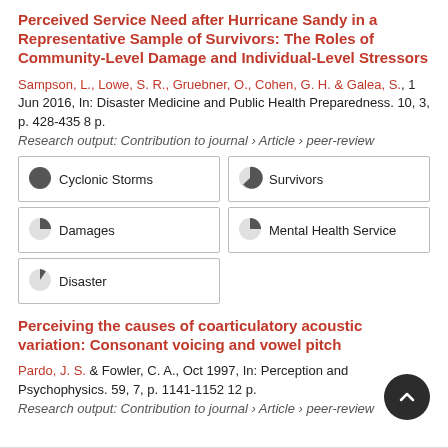Perceived Service Need after Hurricane Sandy in a Representative Sample of Survivors: The Roles of Community-Level Damage and Individual-Level Stressors
Sampson, L., Lowe, S. R., Gruebner, O., Cohen, G. H. & Galea, S., 1 Jun 2016, In: Disaster Medicine and Public Health Preparedness. 10, 3, p. 428-435 8 p.
Research output: Contribution to journal › Article › peer-review
[Figure (infographic): Keyword badges with pie chart icons showing percentage coverage: Cyclonic Storms 100%, Survivors 67%, Damages 50%, Mental Health Service 50%, Disaster 33%]
Perceiving the causes of coarticulatory acoustic variation: Consonant voicing and vowel pitch
Pardo, J. S. & Fowler, C. A., Oct 1997, In: Perception and Psychophysics. 59, 7, p. 1141-1152 12 p.
Research output: Contribution to journal › Article › peer-review